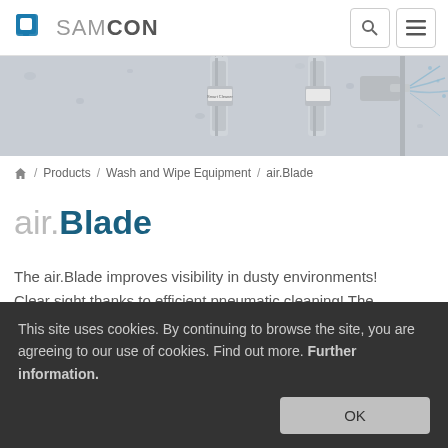SAMCON
[Figure (photo): Hero banner image showing industrial wash/wipe equipment — two upright stainless steel Smart Cleaner units and a water spray nozzle on a wet background]
⌂ / Products / Wash and Wipe Equipment / air.Blade
air.Blade
The air.Blade improves visibility in dusty environments! Clear sight thanks to efficient pneumatic cleaning! The
This site uses cookies. By continuing to browse the site, you are agreeing to our use of cookies. Find out more. Further information.